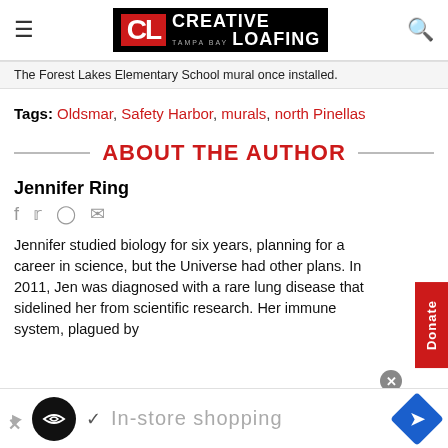Creative Loafing Tampa Bay
The Forest Lakes Elementary School mural once installed.
Tags: Oldsmar, Safety Harbor, murals, north Pinellas
ABOUT THE AUTHOR
Jennifer Ring
Jennifer studied biology for six years, planning for a career in science, but the Universe had other plans. In 2011, Jen was diagnosed with a rare lung disease that sidelined her from scientific research. Her immune system, plagued by